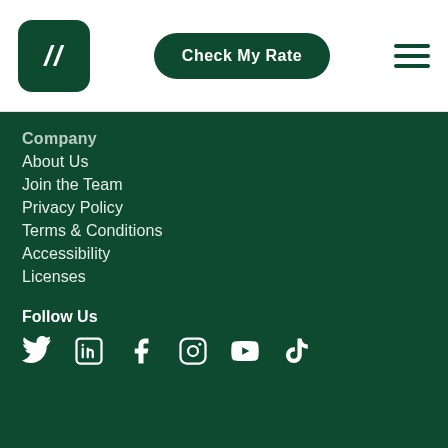[Figure (logo): Tillit/Credibly logo: dark green rounded square with white italic double-slash mark]
Check My Rate
[Figure (other): Hamburger menu icon with three horizontal dark green lines]
Company
About Us
Join the Team
Privacy Policy
Terms & Conditions
Accessibility
Licenses
Follow Us
[Figure (other): Social media icons: Twitter, LinkedIn, Facebook, Instagram, YouTube, TikTok]